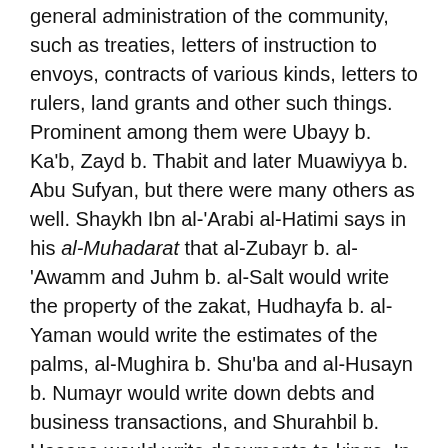general administration of the community, such as treaties, letters of instruction to envoys, contracts of various kinds, letters to rulers, land grants and other such things. Prominent among them were Ubayy b. Ka'b, Zayd b. Thabit and later Muawiyya b. Abu Sufyan, but there were many others as well. Shaykh Ibn al-'Arabi al-Hatimi says in his al-Muhadarat that al-Zubayr b. al-'Awamm and Juhm b. al-Salt would write the property of the zakat, Hudhayfa b. al-Yaman would write the estimates of the palms, al-Mughira b. Shu'ba and al-Husayn b. Numayr would write down debts and business transactions, and Shurahbil b. Hasana would write documents to kings. In all there were said to have been forty-two of these scribes.
Functions of Government
The above shows the need to write and carry out the